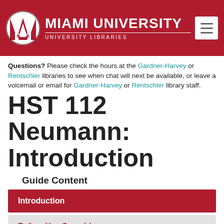[Figure (logo): Miami University University Libraries header with red M logo and white text on dark red background with hamburger menu button]
Questions? Please check the hours at the Gardner-Harvey or Rentschler libraries to see when chat will next be available, or leave a voicemail or email for Gardner-Harvey or Rentschler library staff.
HST 112 Neumann: Introduction
Guide Content
Introduction
Before You Search!
Finding Books